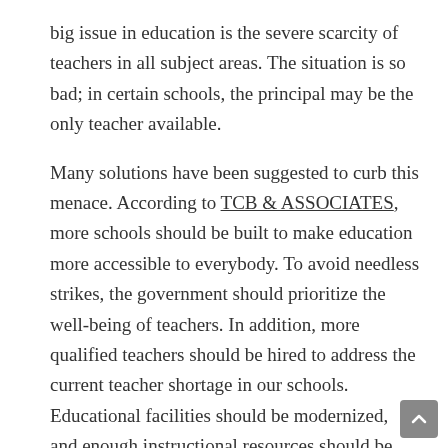big issue in education is the severe scarcity of teachers in all subject areas. The situation is so bad; in certain schools, the principal may be the only teacher available.
Many solutions have been suggested to curb this menace. According to TCB & ASSOCIATES, more schools should be built to make education more accessible to everybody. To avoid needless strikes, the government should prioritize the well-being of teachers. In addition, more qualified teachers should be hired to address the current teacher shortage in our schools. Educational facilities should be modernized, and enough instructional resources should be made available. The need to strengthen higher education should begin with a focus on preschools, elementary schools, secondary schools, and vocational institutions. Because not everyone needs a university education, these are the building blocks of society's educational basis.